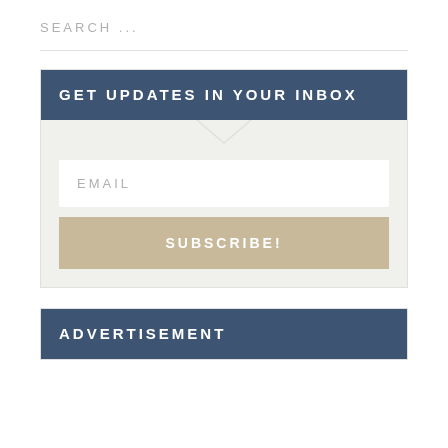SEARCH ...
GET UPDATES IN YOUR INBOX
[Figure (screenshot): Email newsletter subscription widget with a light gray background, a downward-pointing triangle notch at the top, a white email input field labeled EMAIL, and a tan/beige SUBSCRIBE! button.]
ADVERTISEMENT